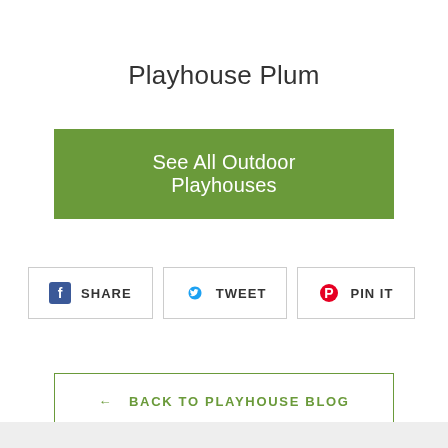Playhouse Plum
[Figure (other): Green button with text 'See All Outdoor Playhouses']
[Figure (infographic): Social sharing buttons: Facebook SHARE, Twitter TWEET, Pinterest PIN IT]
[Figure (other): Back navigation button with text '← BACK TO PLAYHOUSE BLOG']